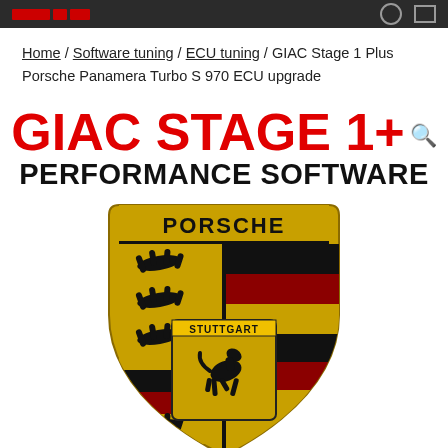[Site logo / navigation bar]
Home / Software tuning / ECU tuning / GIAC Stage 1 Plus Porsche Panamera Turbo S 970 ECU upgrade
GIAC STAGE 1+ PERFORMANCE SOFTWARE
[Figure (logo): Porsche crest shield logo in gold, black, and red with PORSCHE text at top and Stuttgart text on inner shield with rearing horse]